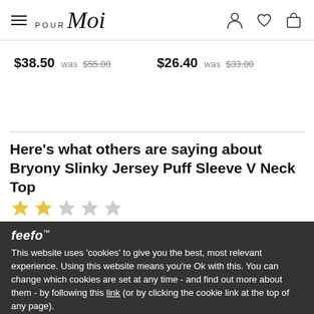Pour Moi
$38.50 was $55.00    $26.40 was $33.00
Here's what others are saying about Bryony Slinky Jersey Puff Sleeve V Neck Top
[Figure (other): 2 out of 5 star rating shown with gold and grey stars]
feefo™
This website uses 'cookies' to give you the best, most relevant experience. Using this website means you're Ok with this. You can change which cookies are set at any time - and find out more about them - by following this link (or by clicking the cookie link at the top of any page).
It was too big. The material too heavy
OK, I understand